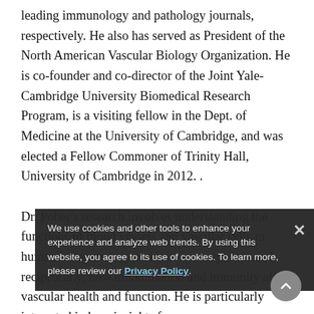leading immunology and pathology journals, respectively. He also has served as President of the North American Vascular Biology Organization. He is co-founder and co-director of the Joint Yale-Cambridge University Biomedical Research Program, is a visiting fellow in the Dept. of Medicine at the University of Cambridge, and was elected a Fellow Commoner of Trinity Hall, University of Cambridge in 2012. .
Dr. Pober's research involves understanding the functions of blood vessels and vascular cells in human inflammatory and immune responses and, reciprocally, how inflammation and immunity affect vascular health and function. He is particularly interested in how insights from experiments with human cells and tissues and
We use cookies and other tools to enhance your experience and analyze web trends. By using this website, you agree to its use of cookies. To learn more, please review our Privacy Policy.